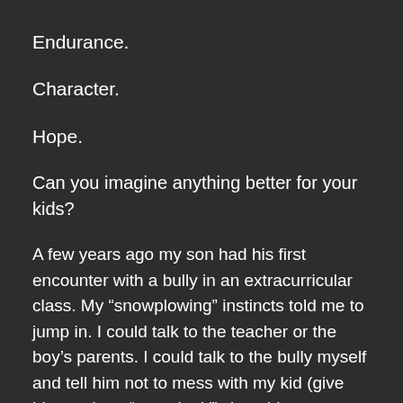Endurance.
Character.
Hope.
Can you imagine anything better for your kids?
A few years ago my son had his first encounter with a bully in an extracurricular class. My “snowplowing” instincts told me to jump in. I could talk to the teacher or the boy’s parents. I could talk to the bully myself and tell him not to mess with my kid (give him my best “mom look”). I could even remove my son from the class and avoid the situation altogether. But what would that teach my future adult son? There will always be difficult people in his life. Should he constantly avoid them and